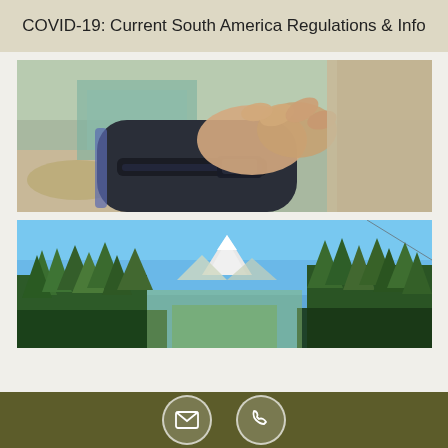COVID-19: Current South America Regulations & Info
[Figure (photo): Close-up photo of a person adjusting a strap or band on their wrist/forearm, with a river or rocky outdoor background]
[Figure (photo): Landscape photo of tall trees framing a mountain peak under a clear blue sky]
Email and phone contact icons